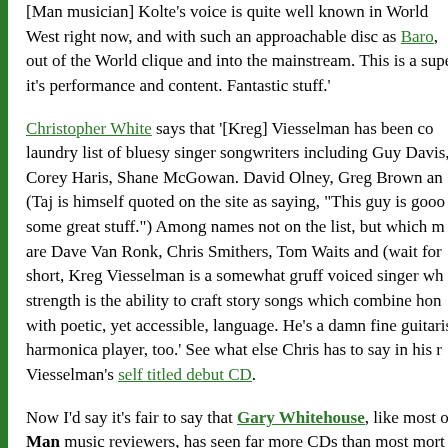[Man musician] Kolte's voice is quite well known in World West right now, and with such an approachable disc as Baro, out of the World clique and into the mainstream. This is a supe it's performance and content. Fantastic stuff.'
Christopher White says that '[Kreg] Viesselman has been co laundry list of bluesy singer songwriters including Guy Davis, Corey Haris, Shane McGowan. David Olney, Greg Brown an (Taj is himself quoted on the site as saying, "This guy is gooo some great stuff.") Among names not on the list, but which m are Dave Van Ronk, Chris Smithers, Tom Waits and (wait for short, Kreg Viesselman is a somewhat gruff voiced singer wh strength is the ability to craft story songs which combine hon with poetic, yet accessible, language. He's a damn fine guitaris harmonica player, too.' See what else Chris has to say in his r Viesselman's self titled debut CD.
Now I'd say it's fair to say that Gary Whitehouse, like most o Man music reviewers, has seen far more CDs than most mort good, the bad, and the really awful, all have been seen by rev Gary. Sometimes that means that they get a bit blasé.. Somet But Gary found one he likes: even if he some reservation ('...K just another good-time Texas music maker who likes to cite T as influences but whose music is closer to Toby and Garth...'): you've written off Robert Earl Keen as just another Texas cou three names, check out Farm Fresh Onions. It's as fresh and